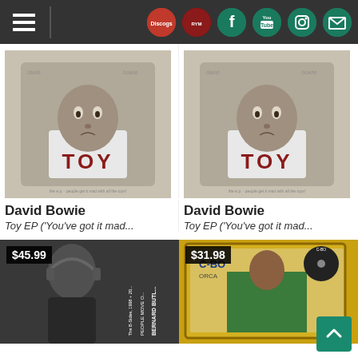Navigation header with hamburger menu and social icons: Discogs, RateYourMusic, Facebook, YouTube, Instagram, Email
[Figure (photo): David Bowie - Toy EP album cover (greyscale baby with face superimposed, wearing shirt with TOY text), left item, price not shown]
David Bowie
Toy EP ('You've got it mad...
[Figure (photo): David Bowie - Toy EP album cover (greyscale baby with face superimposed, wearing shirt with TOY text), right item, price not shown]
David Bowie
Toy EP ('You've got it mad...
[Figure (photo): Bernard Butler - People Move On: The B-Sides 1998+20... album cover, black and white photo of man with headphones, price $45.99]
[Figure (photo): C-BO - Orca album cover, man in green shirt in front of golden frame, price $31.98]